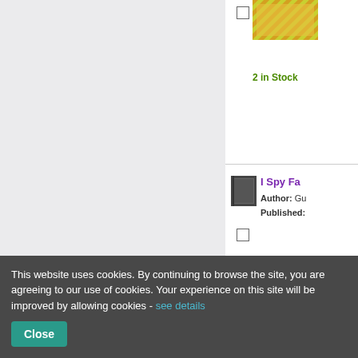[Figure (screenshot): Left gray panel of a book listing website]
2 in Stock
[Figure (illustration): Book icon (dark gray rectangle representing a book cover)]
I Spy Fa...
Author: Gu...
Published:
Stock expe...
Select all
Add to baske...
This website uses cookies. By continuing to browse the site, you are agreeing to our use of cookies. Your experience on this site will be improved by allowing cookies - see details
Close